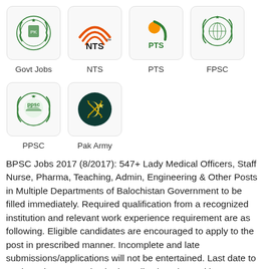[Figure (logo): Govt Jobs logo - Pakistani government emblem green]
[Figure (logo): NTS logo - orange arcs with NTS text]
[Figure (logo): PTS logo - orange sun with green PTS text]
[Figure (logo): FPSC logo - Pakistani government green emblem]
[Figure (logo): PPSC logo - green emblem with PPSC text]
[Figure (logo): Pak Army logo - dark teal circle with crescent and swords]
BPSC Jobs 2017 (8/2017): 547+ Lady Medical Officers, Staff Nurse, Pharma, Teaching, Admin, Engineering & Other Posts in Multiple Departments of Balochistan Government to be filled immediately. Required qualification from a recognized institution and relevant work experience requirement are as following. Eligible candidates are encouraged to apply to the post in prescribed manner. Incomplete and late submissions/applications will not be entertained. Last date to apply to the post and submit application along with